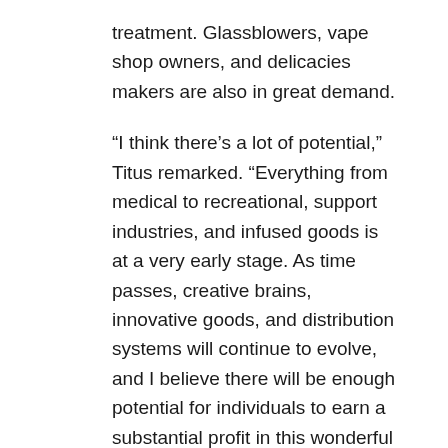treatment. Glassblowers, vape shop owners, and delicacies makers are also in great demand.
“I think there’s a lot of potential,” Titus remarked. “Everything from medical to recreational, support industries, and infused goods is at a very early stage. As time passes, creative brains, innovative goods, and distribution systems will continue to evolve, and I believe there will be enough potential for individuals to earn a substantial profit in this wonderful sector.”
Regulatory environment
The condition of the sector is still extremely